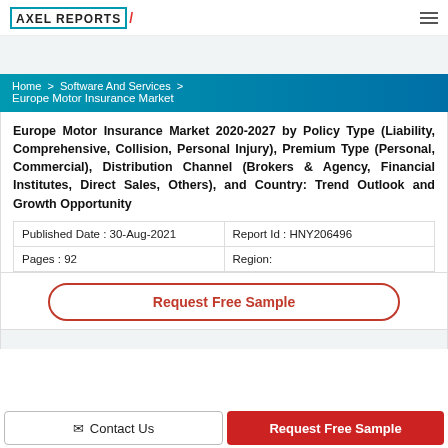AXEL REPORTS
Home > Software And Services > Europe Motor Insurance Market
Europe Motor Insurance Market 2020-2027 by Policy Type (Liability, Comprehensive, Collision, Personal Injury), Premium Type (Personal, Commercial), Distribution Channel (Brokers & Agency, Financial Institutes, Direct Sales, Others), and Country: Trend Outlook and Growth Opportunity
| Published Date : 30-Aug-2021 | Report Id : HNY206496 |
| Pages : 92 | Region: |
Request Free Sample
Contact Us
Request Free Sample